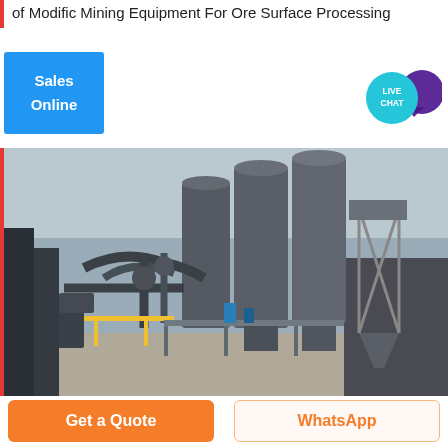of Modific Mining Equipment For Ore Surface Processing
Sales Online
[Figure (illustration): Live Chat bubble icon with speech balloon in teal/cyan color]
[Figure (photo): Industrial mining equipment facility showing large cylindrical silos, metal pipe networks, support structures and scaffolding at an ore surface processing plant]
Get a Quote
WhatsApp